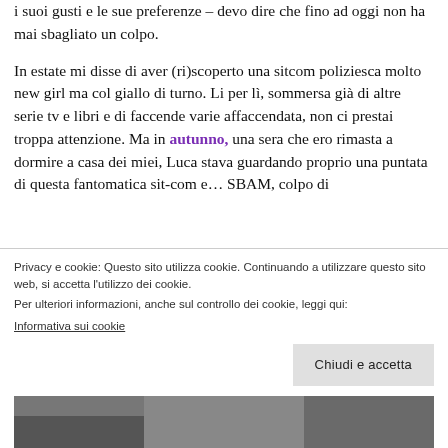i suoi gusti e le sue preferenze – devo dire che fino ad oggi non ha mai sbagliato un colpo.

In estate mi disse di aver (ri)scoperto una sitcom poliziesca molto new girl ma col giallo di turno. Li per lì, sommersa già di altre serie tv e libri e di faccende varie affaccendata, non ci prestai troppa attenzione. Ma in autunno, una sera che ero rimasta a dormire a casa dei miei, Luca stava guardando proprio una puntata di questa fantomatica sit-com e… SBAM, colpo di
Privacy e cookie: Questo sito utilizza cookie. Continuando a utilizzare questo sito web, si accetta l'utilizzo dei cookie.
Per ulteriori informazioni, anche sul controllo dei cookie, leggi qui:
Informativa sui cookie
Chiudi e accetta
[Figure (photo): Partial bottom portion of a photograph showing people, cropped at the bottom of the page]